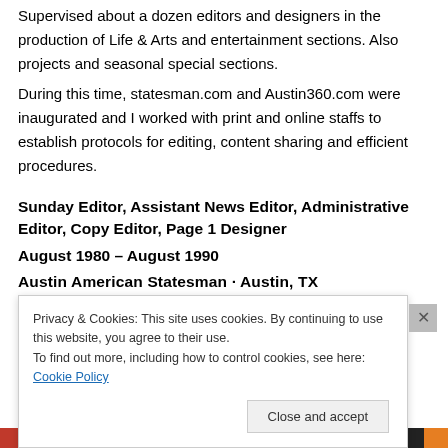Supervised about a dozen editors and designers in the production of Life & Arts and entertainment sections. Also projects and seasonal special sections.
During this time, statesman.com and Austin360.com were inaugurated and I worked with print and online staffs to establish protocols for editing, content sharing and efficient procedures.
Sunday Editor, Assistant News Editor, Administrative Editor, Copy Editor, Page 1 Designer
August 1980 – August 1990
Austin American Statesman · Austin, TX
Privacy & Cookies: This site uses cookies. By continuing to use this website, you agree to their use.
To find out more, including how to control cookies, see here: Cookie Policy